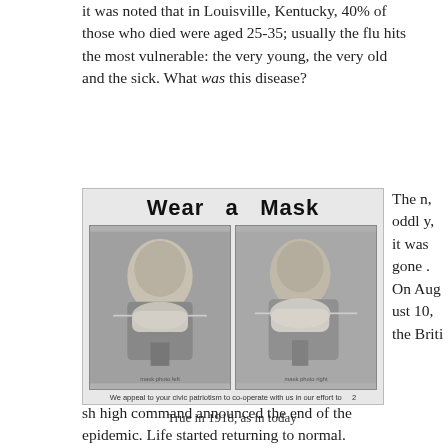it was noted that in Louisville, Kentucky, 40% of those who died were aged 25-35; usually the flu hits the most vulnerable: the very young, the very old and the sick. What was this disease?
[Figure (photo): Historical 'Wear a Mask' public health poster from 1918 showing two men wearing face masks, with text 'We appeal to your civic patriotism to co-operate with us in our effort to']
True in 1918, as in today
Then, oddly, it was gone. On August 10, the Briti
sh high command announced the end of the epidemic. Life started returning to normal.